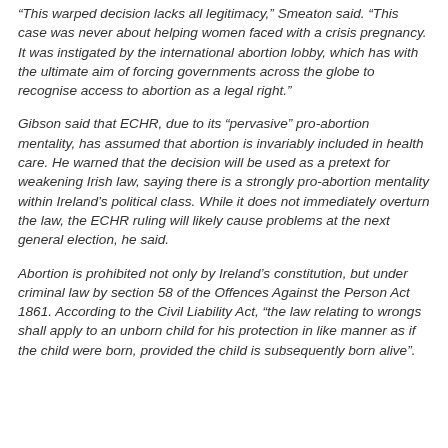“This warped decision lacks all legitimacy,” Smeaton said. “This case was never about helping women faced with a crisis pregnancy. It was instigated by the international abortion lobby, which has with the ultimate aim of forcing governments across the globe to recognise access to abortion as a legal right.”
Gibson said that ECHR, due to its “pervasive” pro-abortion mentality, has assumed that abortion is invariably included in health care. He warned that the decision will be used as a pretext for weakening Irish law, saying there is a strongly pro-abortion mentality within Ireland’s political class. While it does not immediately overturn the law, the ECHR ruling will likely cause problems at the next general election, he said.
Abortion is prohibited not only by Ireland’s constitution, but under criminal law by section 58 of the Offences Against the Person Act 1861. According to the Civil Liability Act, “the law relating to wrongs shall apply to an unborn child for his protection in like manner as if the child were born, provided the child is subsequently born alive”.